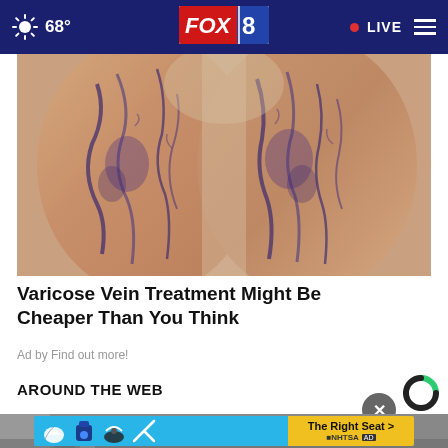68° FOX 8 • LIVE
[Figure (photo): Close-up photograph of legs showing varicose veins — dark blue-purple bulging veins visible on skin]
Varicose Vein Treatment Might Be Cheaper Than You Think
Ad by Find out more!
AROUND THE WEB
[Figure (screenshot): Bottom portion of page showing a partial image and an advertisement banner for NHTSA 'The Right Seat' in blue and yellow]